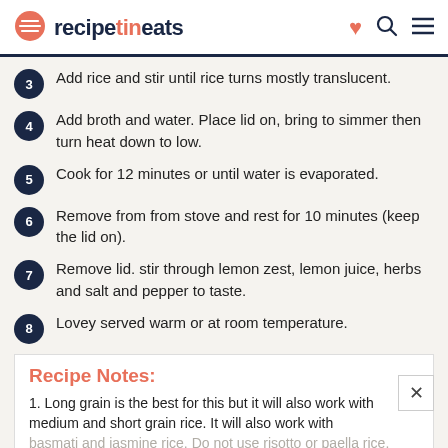recipetineats
3. Add rice and stir until rice turns mostly translucent.
4. Add broth and water. Place lid on, bring to simmer then turn heat down to low.
5. Cook for 12 minutes or until water is evaporated.
6. Remove from from stove and rest for 10 minutes (keep the lid on).
7. Remove lid. stir through lemon zest, lemon juice, herbs and salt and pepper to taste.
8. Lovey served warm or at room temperature.
Recipe Notes:
1. Long grain is the best for this but it will also work with medium and short grain rice. It will also work with basmati and jasmine rice. Do not use risotto or paella rice. With brown rice, top up water and cook for longer